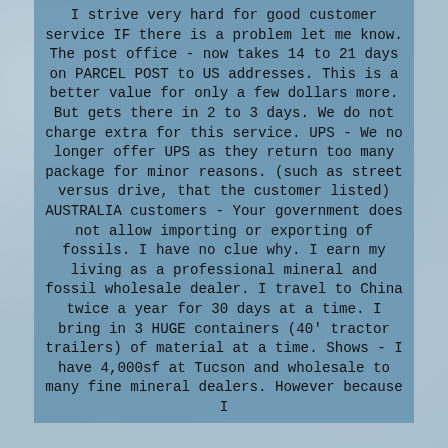I strive very hard for good customer service IF there is a problem let me know. The post office - now takes 14 to 21 days on PARCEL POST to US addresses. This is a better value for only a few dollars more. But gets there in 2 to 3 days. We do not charge extra for this service. UPS - We no longer offer UPS as they return too many package for minor reasons. (such as street versus drive, that the customer listed) AUSTRALIA customers - Your government does not allow importing or exporting of fossils. I have no clue why. I earn my living as a professional mineral and fossil wholesale dealer. I travel to China twice a year for 30 days at a time. I bring in 3 HUGE containers (40' tractor trailers) of material at a time. Shows - I have 4,000sf at Tucson and wholesale to many fine mineral dealers. However because I